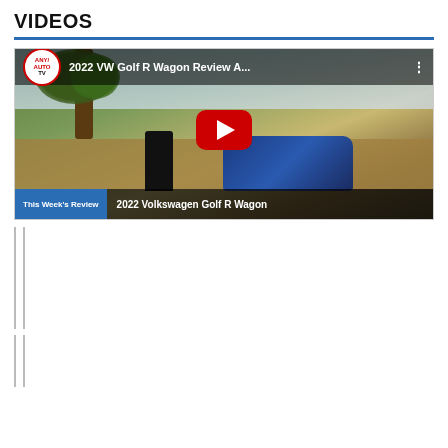VIDEOS
[Figure (screenshot): YouTube video thumbnail for '2022 VW Golf R Wagon Review A...' by AnyAutoTV channel. Shows a man in black standing next to a blue VW Golf R Wagon outdoors with a palm tree. Red YouTube play button overlay. Bottom overlay reads: 'This Week's Review | 2022 Volkswagen Golf R Wagon']
[Figure (screenshot): Smaller thumbnail of the same VW Golf R Wagon video. Shows man next to blue car with palm tree. Bottom bar: 'This Week's Review | 2022 Volkswagen Golf R Wagon']
[Figure (screenshot): Thumbnail showing a man standing next to a dark car with a yellow car behind, dark background. Text overlay on right side: 'Watch This BMW M240i Park Itself No human intervention required!']
[Figure (screenshot): Thumbnail with top bar: 'This Week's Review | 2022 BMW M240i Coupe'. Dark scene with car and figure.]
[Figure (screenshot): Thumbnail with top bar: 'This Week's Review | 2022 LEXUS LC 500 Convertible Review'. Dark scene with car.]